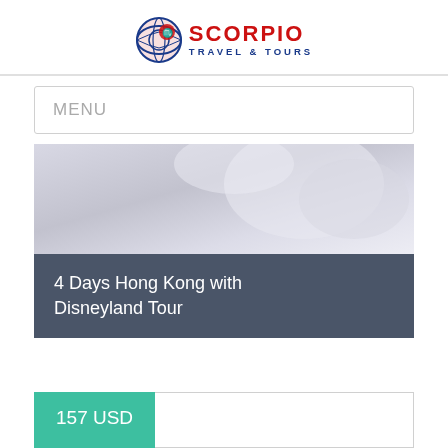[Figure (logo): Scorpio Travel & Tours logo with globe icon, red SCORPIO text and blue TRAVEL & TOURS text]
MENU
[Figure (photo): Tour card header image, light grey/lavender toned background photo]
4 Days Hong Kong with Disneyland Tour
157 USD